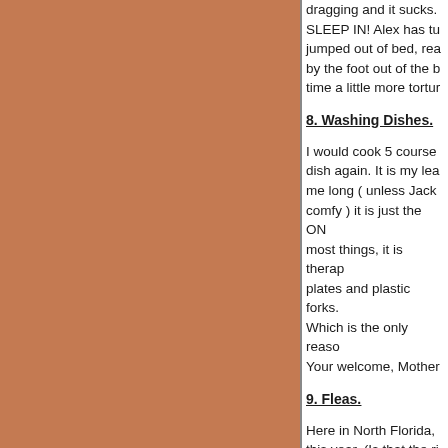dragging and it sucks. SLEEP IN! Alex has jumped out of bed, rea by the foot out of the b time a little more tortur
8. Washing Dishes.
I would cook 5 course dish again. It is my lea me long ( unless Jack comfy ) it is just the ON most things, it is therap plates and plastic forks. Which is the only reaso Your welcome, Mother
9. Fleas.
Here in North Florida, this year. (Is that the ri